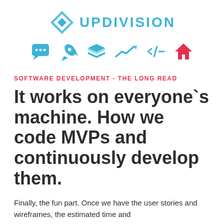[Figure (logo): UPDIVISION logo with blue angular bracket icon and blue text 'UPDIVISION']
[Figure (infographic): Row of six icons: chat bubble, rocket, layers, trending up arrow, terminal/code symbol, and red house icon]
SOFTWARE DEVELOPMENT - THE LONG READ
It works on everyone`s machine. How we code MVPs and continuously develop them.
Finally, the fun part. Once we have the user stories and wireframes, the estimated time and